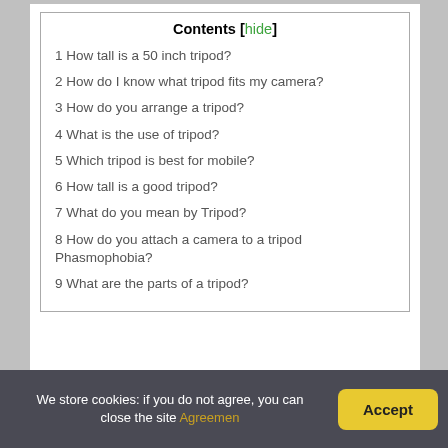| Contents [hide] |
| --- |
| 1 How tall is a 50 inch tripod? |
| 2 How do I know what tripod fits my camera? |
| 3 How do you arrange a tripod? |
| 4 What is the use of tripod? |
| 5 Which tripod is best for mobile? |
| 6 How tall is a good tripod? |
| 7 What do you mean by Tripod? |
| 8 How do you attach a camera to a tripod Phasmophobia? |
| 9 What are the parts of a tripod? |
How tall is a 50 inch tripod?
We store cookies: if you do not agree, you can close the site Agreemen